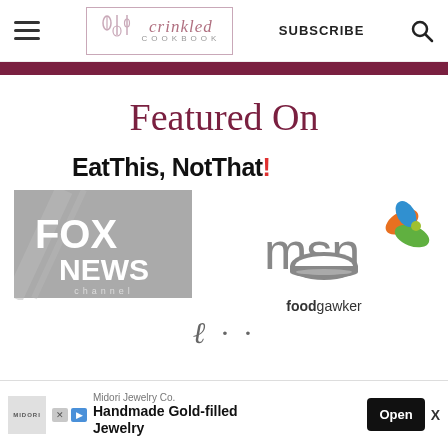Crinkled Cookbook — SUBSCRIBE
Featured On
[Figure (logo): Eat This, Not That! logo in bold black text with red exclamation mark]
[Figure (logo): Fox News Channel logo in gray]
[Figure (logo): MSN logo with colorful butterfly/leaf icon]
[Figure (logo): foodgawker logo with gray bowl icon above text]
[Figure (logo): Partial cursive logo at bottom, partially cut off]
Midori Jewelry Co. Handmade Gold-filled Jewelry Open X